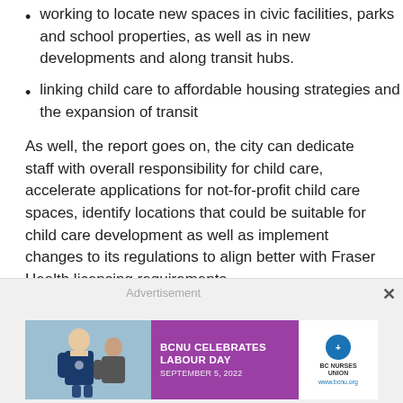working to locate new spaces in civic facilities, parks and school properties, as well as in new developments and along transit hubs.
linking child care to affordable housing strategies and the expansion of transit
As well, the report goes on, the city can dedicate staff with overall responsibility for child care, accelerate applications for not-for-profit child care spaces, identify locations that could be suitable for child care development as well as implement changes to its regulations to align better with Fraser Health licensing requirements.
[Figure (infographic): Advertisement banner showing BCNU Celebrates Labour Day September 5, 2022 with BC Nurses Union logo and a photo of a nurse]